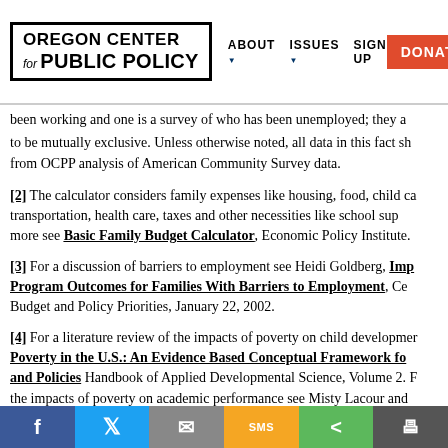Oregon Center for Public Policy | ABOUT | ISSUES | SIGN UP | DONATE
been working and one is a survey of who has been unemployed; they are not intended to be mutually exclusive. Unless otherwise noted, all data in this fact sh from OCPP analysis of American Community Survey data.
[2] The calculator considers family expenses like housing, food, child ca transportation, health care, taxes and other necessities like school sup more see Basic Family Budget Calculator, Economic Policy Institute.
[3] For a discussion of barriers to employment see Heidi Goldberg, Improving TANF Program Outcomes for Families With Barriers to Employment, Center on Budget and Policy Priorities, January 22, 2002.
[4] For a literature review of the impacts of poverty on child development see Poverty in the U.S.: An Evidence Based Conceptual Framework for Understanding Child Poverty and Policies Handbook of Applied Developmental Science, Volume 2. For the impacts of poverty on academic performance see Misty Lacour and Laura Tissington, The effects of poverty on academic achievement, Educational Research and Reviews, Volume 6 (7), pages 522-527, July 2011.
f  Twitter  Email  SMS  Share  Print